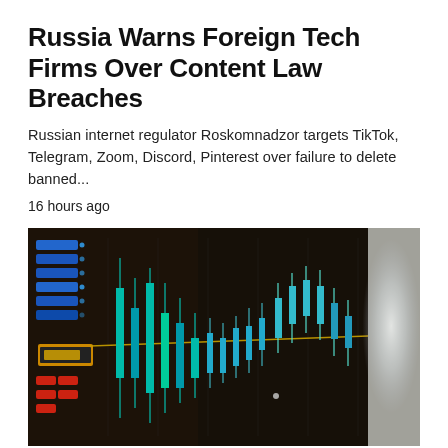Russia Warns Foreign Tech Firms Over Content Law Breaches
Russian internet regulator Roskomnadzor targets TikTok, Telegram, Zoom, Discord, Pinterest over failure to delete banned...
16 hours ago
[Figure (photo): Close-up photo of a financial trading screen showing candlestick charts in blue/cyan with a blurred background of a person and bright light on the right side.]
EPAYMENT   MARKETING